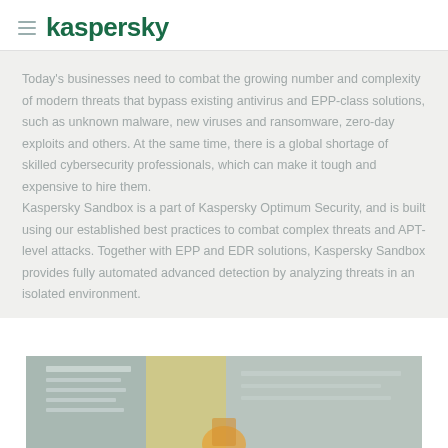kaspersky
Today's businesses need to combat the growing number and complexity of modern threats that bypass existing antivirus and EPP-class solutions, such as unknown malware, new viruses and ransomware, zero-day exploits and others. At the same time, there is a global shortage of skilled cybersecurity professionals, which can make it tough and expensive to hire them.
Kaspersky Sandbox is a part of Kaspersky Optimum Security, and is built using our established best practices to combat complex threats and APT-level attacks. Together with EPP and EDR solutions, Kaspersky Sandbox provides fully automated advanced detection by analyzing threats in an isolated environment.
[Figure (photo): Photo of a computer screen or interface showing a threat analysis dashboard, muted teal/yellow tones, partially visible at bottom of page.]